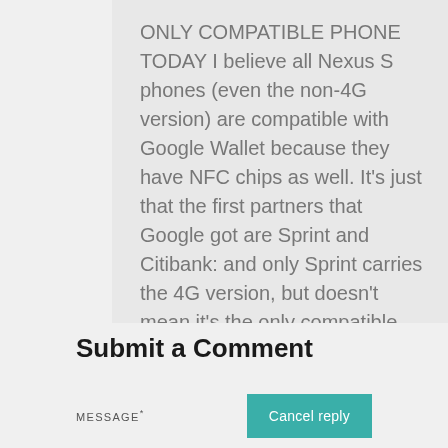ONLY COMPATIBLE PHONE TODAY I believe all Nexus S phones (even the non-4G version) are compatible with Google Wallet because they have NFC chips as well. It's just that the first partners that Google got are Sprint and Citibank: and only Sprint carries the 4G version, but doesn't mean it's the only compatible phone today. 147
Submit a Comment
MESSAGE*
Cancel reply